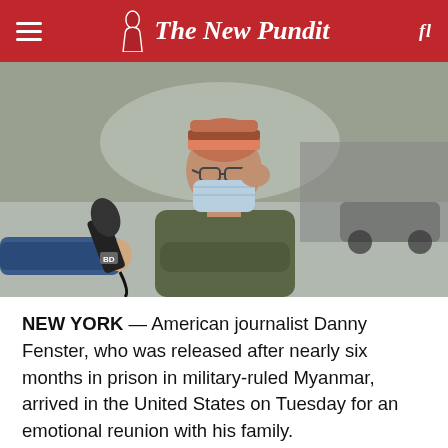The New Pundit
[Figure (photo): Man wearing a face mask and a striped beanie hat, sitting and talking on a phone, being interviewed with a microphone held toward him by a journalist's arm. Indoor/airport setting with blurred background.]
NEW YORK — American journalist Danny Fenster, who was released after nearly six months in prison in military-ruled Myanmar, arrived in the United States on Tuesday for an emotional reunion with his family.
Fenster, who was sentenced last week to 11 years of hard labor, was handed over Monday to former